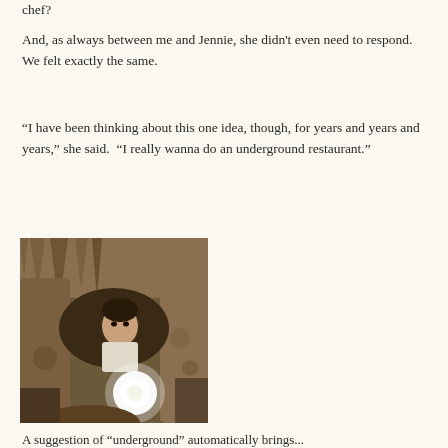chef?
And, as always between me and Jennie, she didn't even need to respond.  We felt exactly the same.
“I have been thinking about this one idea, though, for years and years and years,” she said.  “I really wanna do an underground restaurant.”
[Figure (photo): A person peering through a narrow opening in a cave with stalactites and rocky formations, illuminated by a bright light source in the foreground.]
A suggestion of “underground” automatically brings...